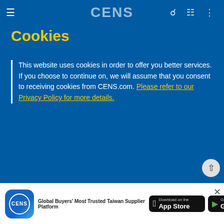CENS
Cookies
This website uses cookies in order to offer you better services. If you choose to continue on, we will assume that you consent to receiving cookies from CENS.com. Please refer to our Privacy Policy for more details.
OK
Messe Frankfurt reschedules CAPAS 2022 and Auto Maintenance & Repair Expo 2022
May 06, 2022
In view of the evolving pandemic situation in China, the Government has escalated a number of COVID-19 on and control measures. To align with thes
[Figure (logo): CENS app icon - blue rounded square with globe and CENS text]
Global Buyers' Most Trusted Taiwan Supplier Platform
[Figure (logo): Download on the App Store button]
[Figure (logo): Get it on Google Play button]